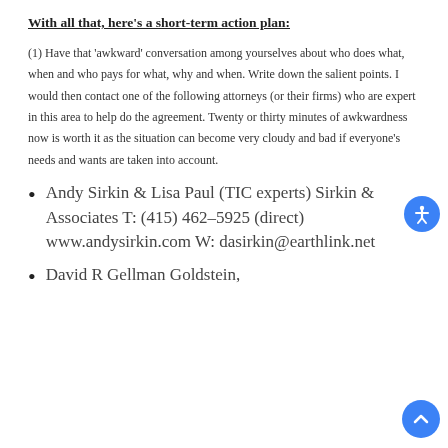With all that, here's a short-term action plan:
(1) Have that 'awkward' conversation among yourselves about who does what, when and who pays for what, why and when. Write down the salient points. I would then contact one of the following attorneys (or their firms) who are expert in this area to help do the agreement. Twenty or thirty minutes of awkwardness now is worth it as the situation can become very cloudy and bad if everyone's needs and wants are taken into account.
Andy Sirkin & Lisa Paul (TIC experts) Sirkin & Associates T: (415) 462–5925 (direct) www.andysirkin.com W: dasirkin@earthlink.net
David R Gellman Goldstein, Gellman…